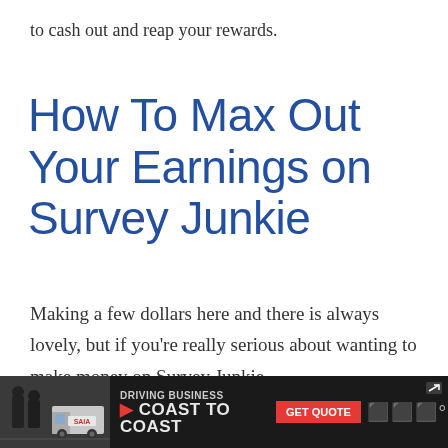to cash out and reap your rewards.
How To Max Out Your Earnings on Survey Junkie
Making a few dollars here and there is always lovely, but if you're really serious about wanting to make money on Survey Junkie,
[Figure (screenshot): Advertisement banner for Saia trucking company with text 'DRIVING BUSINESS COAST TO COAST' and a 'GET QUOTE' button, with a photo of people near a truck, on a dark background. Top right shows an arrow/expand icon. Right side shows weather-related icons.]